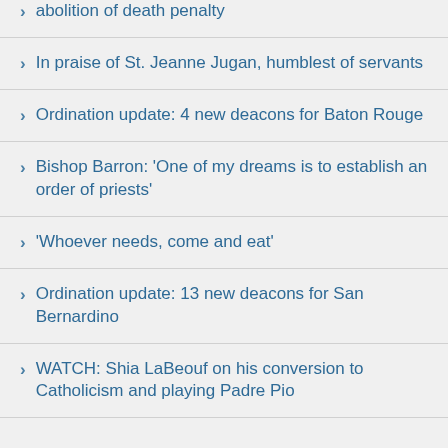abolition of death penalty
In praise of St. Jeanne Jugan, humblest of servants
Ordination update: 4 new deacons for Baton Rouge
Bishop Barron: 'One of my dreams is to establish an order of priests'
'Whoever needs, come and eat'
Ordination update: 13 new deacons for San Bernardino
WATCH: Shia LaBeouf on his conversion to Catholicism and playing Padre Pio